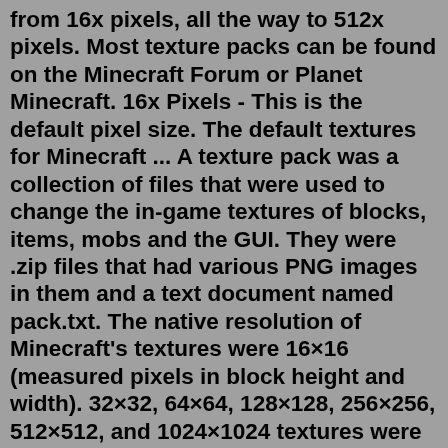from 16x pixels, all the way to 512x pixels. Most texture packs can be found on the Minecraft Forum or Planet Minecraft. 16x Pixels - This is the default pixel size. The default textures for Minecraft ... A texture pack was a collection of files that were used to change the in-game textures of blocks, items, mobs and the GUI. They were .zip files that had various PNG images in them and a text document named pack.txt. The native resolution of Minecraft's textures were 16×16 (measured pixels in block height and width). 32×32, 64×64, 128×128, 256×256, 512×512, and 1024×1024 textures were ... Resource packs allow users to include files that can modify or add custom textures, models, animations, music, sounds, user interfaces, and languages that change the way some things in Minecraft behave or look. There are some things that you should NOT do when creating a resource pack / texture packs, which includes but is not limited to: Anything that violates the Minecraft EULA. Release ... The Texture Update is an update released in Java Edition 1.14, Bedrock Edition 1.10.0